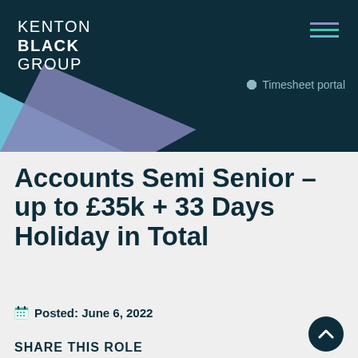KENTON BLACK GROUP
Accounts Semi Senior – up to £35k + 33 Days Holiday in Total
Posted: June 6, 2022
SHARE THIS ROLE